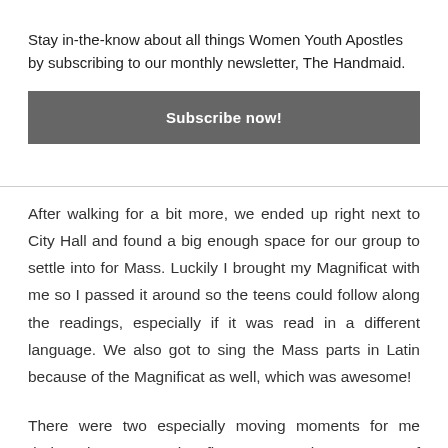Stay in-the-know about all things Women Youth Apostles by subscribing to our monthly newsletter, The Handmaid.
Subscribe now!
After walking for a bit more, we ended up right next to City Hall and found a big enough space for our group to settle into for Mass. Luckily I brought my Magnificat with me so I passed it around so the teens could follow along the readings, especially if it was read in a different language. We also got to sing the Mass parts in Latin because of the Magnificat as well, which was awesome!
There were two especially moving moments for me during the Mass. The first was at the moment of Consecration. It was a powerful scene–pilgrims knelt and